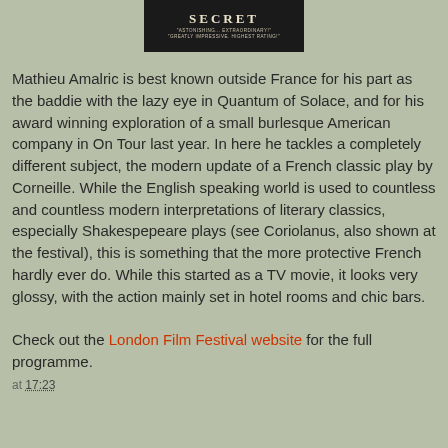[Figure (other): Dark movie poster or promotional image with white text reading 'SECRET' and subtitle lines 'ASTONISHING... EXTRAORDINARY! GREATLY IMPRESSIVE. HIGHEST RATING!']
Mathieu Amalric is best known outside France for his part as the baddie with the lazy eye in Quantum of Solace, and for his award winning exploration of a small burlesque American company in On Tour last year. In here he tackles a completely different subject, the modern update of a French classic play by Corneille. While the English speaking world is used to countless and countless modern interpretations of literary classics, especially Shakespepeare plays (see Coriolanus, also shown at the festival), this is something that the more protective French hardly ever do. While this started as a TV movie, it looks very glossy, with the action mainly set in hotel rooms and chic bars.
Check out the London Film Festival website for the full programme.
at 17:23
Share